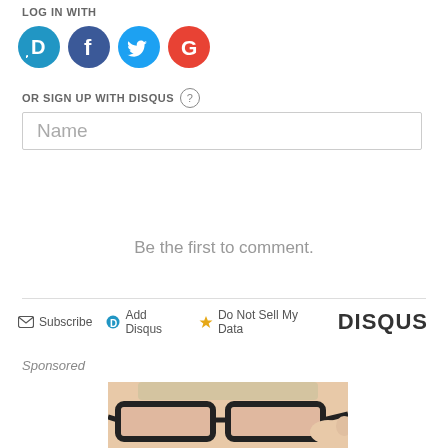LOG IN WITH
[Figure (logo): Social login icons: Disqus (blue circle with D), Facebook (dark blue circle with f), Twitter (light blue circle with bird), Google (red circle with G)]
OR SIGN UP WITH DISQUS ?
Name
Be the first to comment.
Subscribe  Add Disqus  Do Not Sell My Data   DISQUS
Sponsored
[Figure (photo): Partial photo of a man looking over thick-rimmed black glasses]